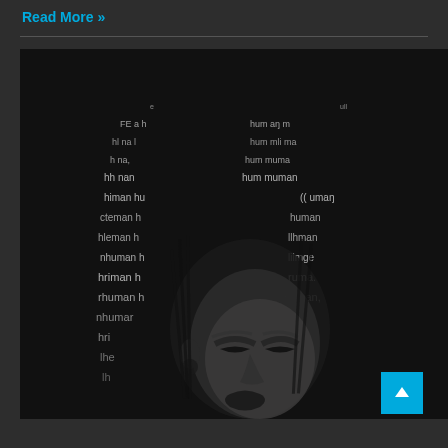Read More »
[Figure (photo): Black and white artistic photo of a woman with braided hair, overlaid with repeated text of the word 'human' creating a typographic pattern forming a crown or headpiece above her face. The woman has dramatic eye makeup and her eyes are closed.]